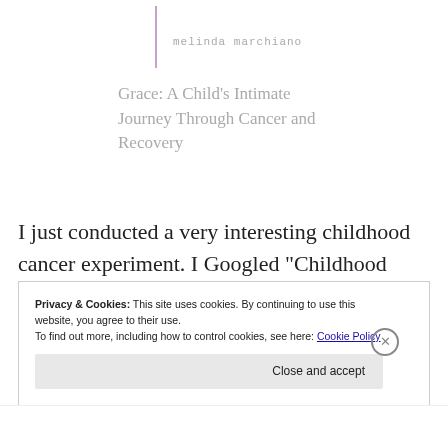melinda marchiano
Grace: A Child's Intimate Journey Through Cancer and Recovery
I just conducted a very interesting childhood cancer experiment. I Googled “Childhood Cancer News.” The results I found are puzzling, and frankly disturbing.
Privacy & Cookies: This site uses cookies. By continuing to use this website, you agree to their use.
To find out more, including how to control cookies, see here: Cookie Policy